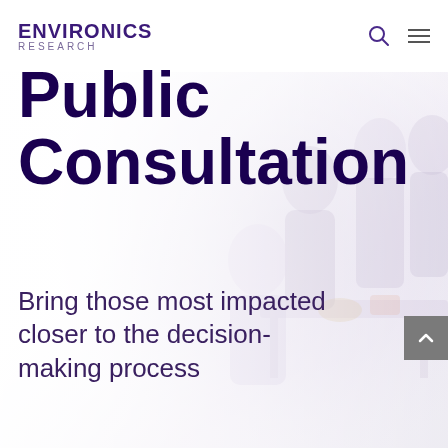ENVIRONICS RESEARCH
[Figure (photo): Background photo of a group of young people (students) sitting and talking around a table, faded/washed out to be used as page background]
Public Consultation
Bring those most impacted closer to the decision-making process